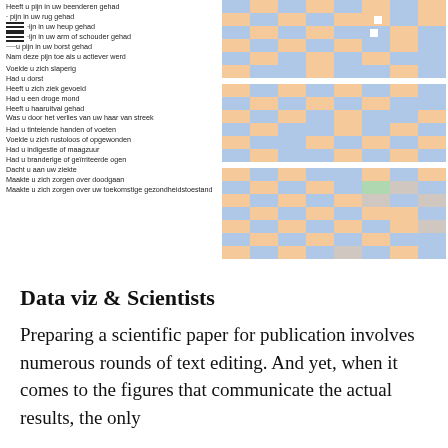[Figure (other): A heatmap with Dutch survey questions as row labels on the left, and colored grid cells (orange and blue) on the right. Three horizontal groups separated by white gaps. Some cells have small white squares. Row labels include questions about pain, sleep, thirst, sickness, dry mouth, hair loss, tingling, restlessness, indigestion, eye irritation, worrying about death and future health.]
Data viz & Scientists
Preparing a scientific paper for publication involves numerous rounds of text editing. And yet, when it comes to the figures that communicate the actual results, the only